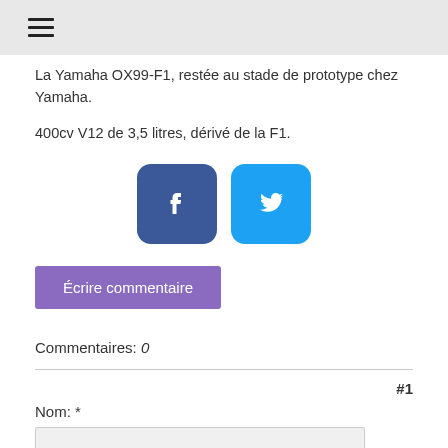La Yamaha OX99-F1, restée au stade de prototype chez Yamaha.
400cv V12 de 3,5 litres, dérivé de la F1.
[Figure (logo): Facebook and Twitter social share buttons]
Écrire commentaire
Commentaires: 0
#1
Nom: *